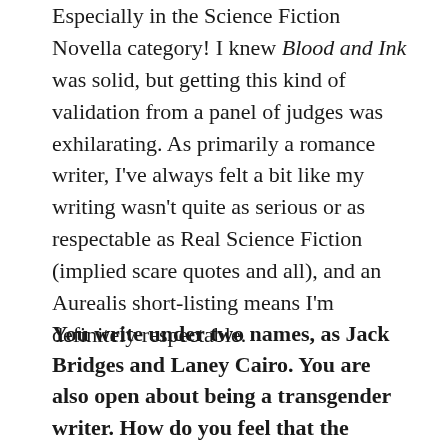Especially in the Science Fiction Novella category! I knew Blood and Ink was solid, but getting this kind of validation from a panel of judges was exhilarating. As primarily a romance writer, I've always felt a bit like my writing wasn't quite as serious or as respectable as Real Science Fiction (implied scare quotes and all), and an Aurealis short-listing means I'm definitely respectable.
You write under two names, as Jack Bridges and Laney Cairo. You are also open about being a transgender writer. How do you feel that the exploration of the world of speculative fiction and the world of being transgender intersect? Because of the